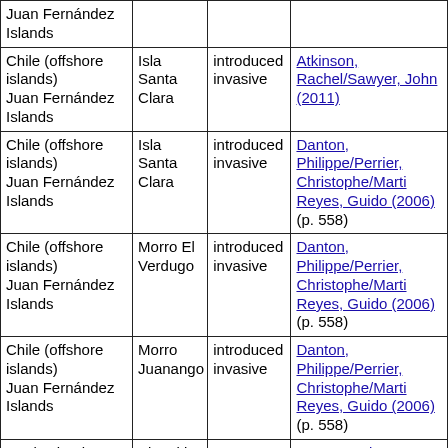| Juan Fernández Islands |  |  |  |
| Chile (offshore islands) Juan Fernández Islands | Isla Santa Clara | introduced invasive | Atkinson, Rachel/Sawyer, John (2011) |
| Chile (offshore islands) Juan Fernández Islands | Isla Santa Clara | introduced invasive | Danton, Philippe/Perrier, Christophe/Marti Reyes, Guido (2006) (p. 558) |
| Chile (offshore islands) Juan Fernández Islands | Morro El Verdugo | introduced invasive | Danton, Philippe/Perrier, Christophe/Marti Reyes, Guido (2006) (p. 558) |
| Chile (offshore islands) Juan Fernández Islands | Morro Juanango | introduced invasive | Danton, Philippe/Perrier, Christophe/Marti Reyes, Guido (2006) (p. 558) |
| Cook Islands Southern Cook Islands | Aitutaki Atoll |  | McCormack, Ge (2013) |